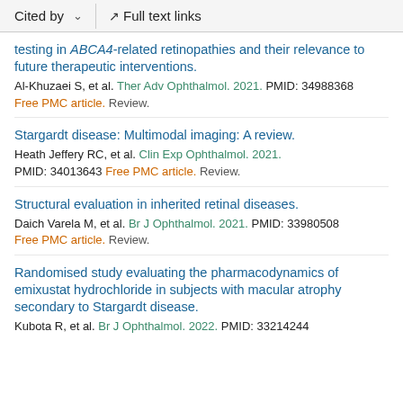Cited by | Full text links
testing in ABCA4-related retinopathies and their relevance to future therapeutic interventions.
Al-Khuzaei S, et al. Ther Adv Ophthalmol. 2021. PMID: 34988368 Free PMC article. Review.
Stargardt disease: Multimodal imaging: A review.
Heath Jeffery RC, et al. Clin Exp Ophthalmol. 2021. PMID: 34013643 Free PMC article. Review.
Structural evaluation in inherited retinal diseases.
Daich Varela M, et al. Br J Ophthalmol. 2021. PMID: 33980508 Free PMC article. Review.
Randomised study evaluating the pharmacodynamics of emixustat hydrochloride in subjects with macular atrophy secondary to Stargardt disease.
Kubota R, et al. Br J Ophthalmol. 2022. PMID: 33214244